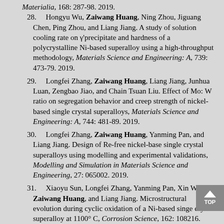Materialia, 168: 287-98. 2019.
28. Hongyu Wu, Zaiwang Huang, Ning Zhou, Jiguang Chen, Ping Zhou, and Liang Jiang. A study of solution cooling rate on γ'precipitate and hardness of a polycrystalline Ni-based superalloy using a high-throughput methodology, Materials Science and Engineering: A, 739: 473-79. 2019.
29. Longfei Zhang, Zaiwang Huang, Liang Jiang, Junhua Luan, Zengbao Jiao, and Chain Tsuan Liu. Effect of Mo: W ratio on segregation behavior and creep strength of nickel-based single crystal superalloys, Materials Science and Engineering: A, 744: 481-89. 2019.
30. Longfei Zhang, Zaiwang Huang, Yanming Pan, and Liang Jiang. Design of Re-free nickel-base single crystal superalloys using modelling and experimental validations, Modelling and Simulation in Materials Science and Engineering, 27: 065002. 2019.
31. Xiaoyu Sun, Longfei Zhang, Yanming Pan, Xin Wang, Zaiwang Huang, and Liang Jiang. Microstructural evolution during cyclic oxidation of a Ni-based singe crystal superalloy at 1100° C, Corrosion Science, 162: 108216. 2020.
32. Wenkai Deng, Dong Zhang, Hongy Wu, Zaiwang Huang, Kechao Zhou, Liang Jiang. Prediction